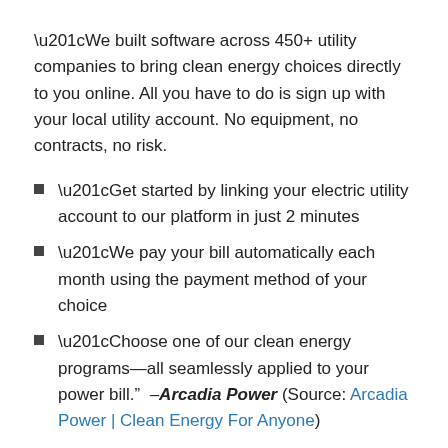“We built software across 450+ utility companies to bring clean energy choices directly to you online. All you have to do is sign up with your local utility account. No equipment, no contracts, no risk.
“Get started by linking your electric utility account to our platform in just 2 minutes
“We pay your bill automatically each month using the payment method of your choice
“Choose one of our clean energy programs—all seamlessly applied to your power bill.”  –Arcadia Power (Source: Arcadia Power | Clean Energy For Anyone)
Share this: